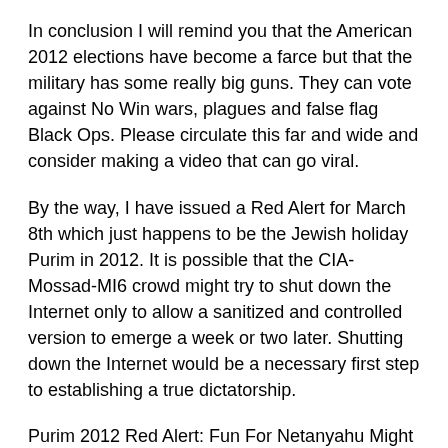In conclusion I will remind you that the American 2012 elections have become a farce but that the military has some really big guns. They can vote against No Win wars, plagues and false flag Black Ops. Please circulate this far and wide and consider making a video that can go viral.
By the way, I have issued a Red Alert for March 8th which just happens to be the Jewish holiday Purim in 2012. It is possible that the CIA-Mossad-MI6 crowd might try to shut down the Internet only to allow a sanitized and controlled version to emerge a week or two later. Shutting down the Internet would be a necessary first step to establishing a true dictatorship.
Purim 2012 Red Alert: Fun For Netanyahu Might Not Be Good For You
https://vidrebel.wordpress.com/2012/02/21/purim-2012-